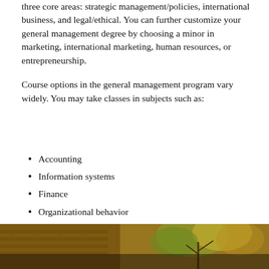three core areas: strategic management/policies, international business, and legal/ethical. You can further customize your general management degree by choosing a minor in marketing, international marketing, human resources, or entrepreneurship.
Course options in the general management program vary widely. You may take classes in subjects such as:
Accounting
Information systems
Finance
Organizational behavior
Marketing
Operations management
Business policy
[Figure (photo): Outdoor photo showing brick building with autumn foliage/trees]